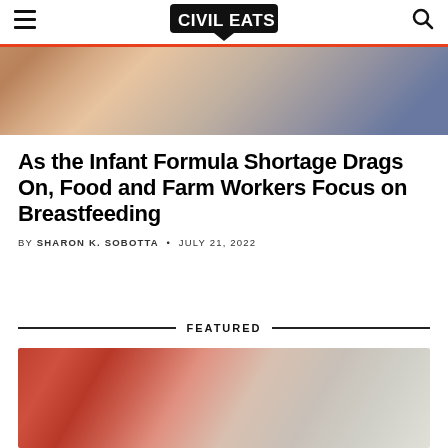Civil Eats
[Figure (photo): Hero image showing a person breastfeeding a baby, warm tones]
As the Infant Formula Shortage Drags On, Food and Farm Workers Focus on Breastfeeding
BY SHARON K. SOBOTTA • JULY 21, 2022
FEATURED
[Figure (photo): Close-up image of what appears to be meat or fish being prepared, red and pink tones]